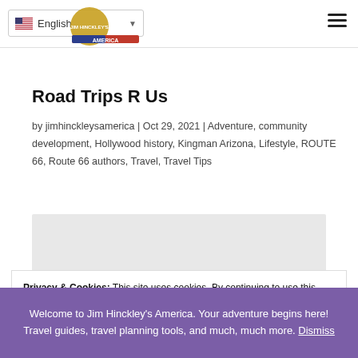English [language selector] | hamburger menu
[Figure (logo): Jim Hinckley's America logo with gold circle and red/blue banner]
Road Trips R Us
by jimhinckleysamerica | Oct 29, 2021 | Adventure, community development, Hollywood history, Kingman Arizona, Lifestyle, ROUTE 66, Route 66 authors, Travel, Travel Tips
[Figure (photo): Gray placeholder image block]
Privacy & Cookies: This site uses cookies. By continuing to use this website, you agree to their use.
To find out more, including how to control cookies, see here: Cookie Policy
Welcome to Jim Hinckley's America. Your adventure begins here! Travel guides, travel planning tools, and much, much more. Dismiss